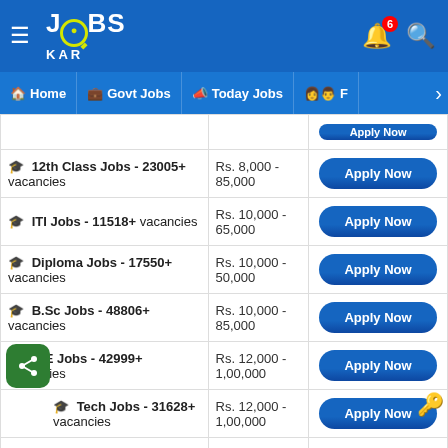JOBS KAR app header with navigation: Home, Govt Jobs, Today Jobs, F...
| Job Category | Salary Range | Action |
| --- | --- | --- |
| 🎓 12th Class Jobs - 23005+ vacancies | Rs. 8,000 - 85,000 | Apply Now |
| 🎓 ITI Jobs - 11518+ vacancies | Rs. 10,000 - 65,000 | Apply Now |
| 🎓 Diploma Jobs - 17550+ vacancies | Rs. 10,000 - 50,000 | Apply Now |
| 🎓 B.Sc Jobs - 48806+ vacancies | Rs. 10,000 - 85,000 | Apply Now |
| 🎓 B.E Jobs - 42999+ vacancies | Rs. 12,000 - 1,00,000 | Apply Now |
| 🎓 ...Tech Jobs - 31628+ vacancies | Rs. 12,000 - 1,00,000 | Apply Now |
| 🎓 B.S... Jobs - 30100+... | Rs. 10,000 - | Apply Now |